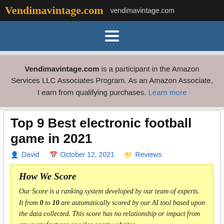Vendimavintage.com vendimavintage.com
Vendimavintage.com is a participant in the Amazon Services LLC Associates Program. As an Amazon Associate, I earn from qualifying purchases. Learn more
Top 9 Best electronic football game in 2021
David  October 12, 2021  Reviews
How We Score
Our Score is a ranking system developed by our team of experts. It from 0 to 10 are automatically scored by our AI tool based upon the data collected. This score has no relationship or impact from any manufacturer or sales agent websites.